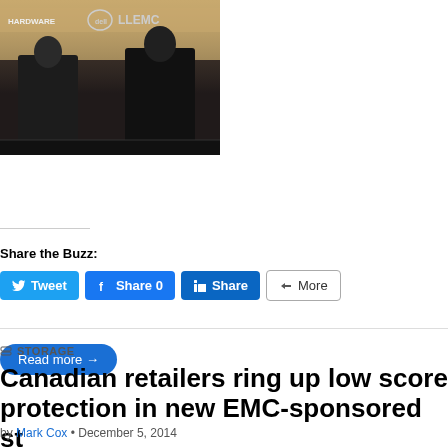[Figure (photo): Two men in suits seated on stage at a conference with a Dell EMC banner visible in the background]
Read more →
Share the Buzz:
Tweet  Share 0  Share  More
STORAGE
Canadian retailers ring up low score protection in new EMC-sponsored st
by Mark Cox • December 5, 2014